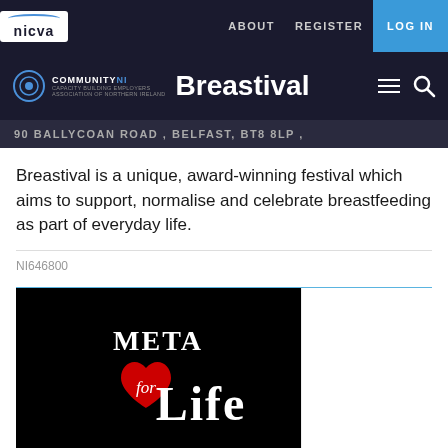nicva | ABOUT  REGISTER  LOG IN
COMMUNITYNI | Breastival
90 BALLYCOAN ROAD , BELFAST, BT8 8LP ,
Breastival is a unique, award-winning festival which aims to support, normalise and celebrate breastfeeding as part of everyday life.
NI646800
[Figure (logo): Metal for Life logo: black background with gothic white lettering 'meta Life' and a red heart shape with cursive 'for' text in the center]